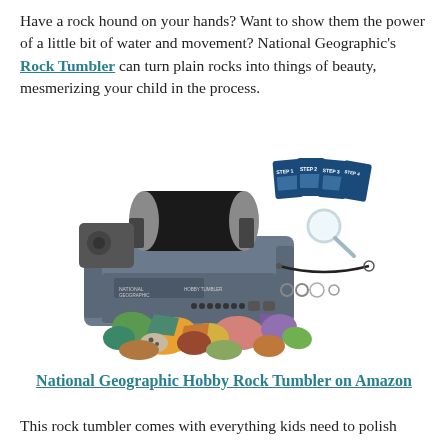Have a rock hound on your hands? Want to show them the power of a little bit of water and movement? National Geographic's Rock Tumbler can turn plain rocks into things of beauty, mesmerizing your child in the process.
[Figure (photo): National Geographic Hobby Rock Tumbler machine with accessories including polishing grit packets (Step 1-4), magnifying glass, jewelry cord, clasps, and a pile of colorful rough gemstones and rocks in front of the machine.]
National Geographic Hobby Rock Tumbler on Amazon
This rock tumbler comes with everything kids need to polish